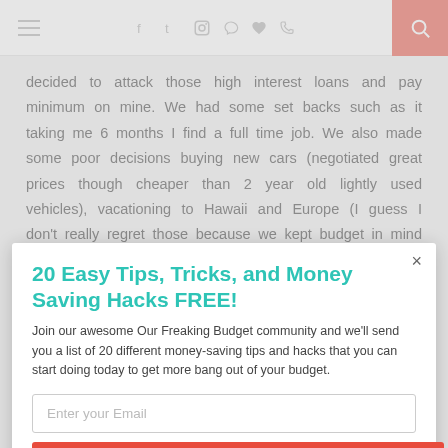≡  f  t  ⊡  p  ♥  )))  🔍
decided to attack those high interest loans and pay minimum on mine. We had some set backs such as it taking me 6 months I find a full time job. We also made some poor decisions buying new cars (negotiated great prices though cheaper than 2 year old lightly used vehicles), vacationing to Hawaii and Europe (I guess I don't really regret those because we kept budget in mind and paid cash for them) and taking
20 Easy Tips, Tricks, and Money Saving Hacks FREE!
Join our awesome Our Freaking Budget community and we'll send you a list of 20 different money-saving tips and hacks that you can start doing today to get more bang out of your budget.
Enter your Email
Sign Me Up!